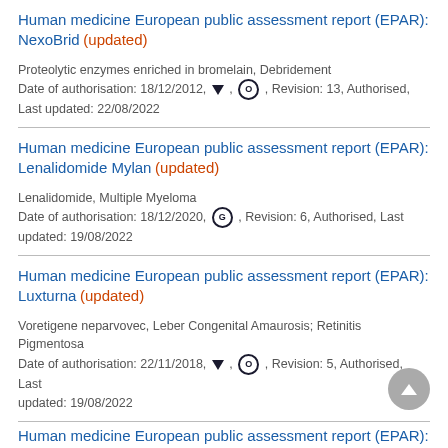Human medicine European public assessment report (EPAR): NexoBrid (updated)
Proteolytic enzymes enriched in bromelain, Debridement
Date of authorisation: 18/12/2012, ▼, O, Revision: 13, Authorised, Last updated: 22/08/2022
Human medicine European public assessment report (EPAR): Lenalidomide Mylan (updated)
Lenalidomide, Multiple Myeloma
Date of authorisation: 18/12/2020, G, Revision: 6, Authorised, Last updated: 19/08/2022
Human medicine European public assessment report (EPAR): Luxturna (updated)
Voretigene neparvovec, Leber Congenital Amaurosis; Retinitis Pigmentosa
Date of authorisation: 22/11/2018, ▼, O, Revision: 5, Authorised, Last updated: 19/08/2022
Human medicine European public assessment report (EPAR):